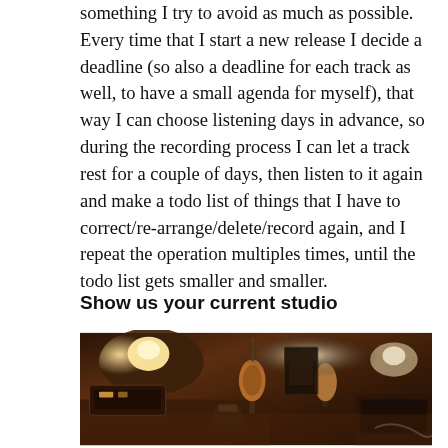something I try to avoid as much as possible. Every time that I start a new release I decide a deadline (so also a deadline for each track as well, to have a small agenda for myself), that way I can choose listening days in advance, so during the recording process I can let a track rest for a couple of days, then listen to it again and make a todo list of things that I have to correct/re-arrange/delete/record again, and I repeat the operation multiples times, until the todo list gets smaller and smaller.
Show us your current studio
[Figure (photo): A cluttered music studio with guitars, amplifiers, recording equipment, and various gear on desks, lit with warm ambient lighting.]